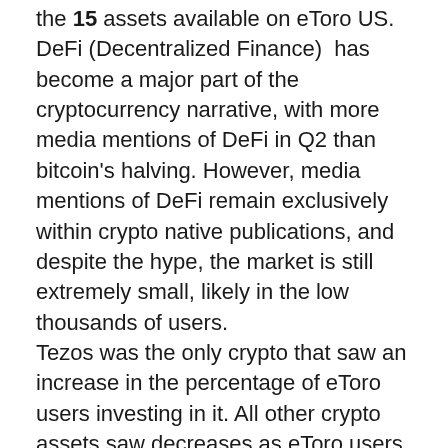the 15 assets available on eToro US. DeFi (Decentralized Finance) has become a major part of the cryptocurrency narrative, with more media mentions of DeFi in Q2 than bitcoin's halving. However, media mentions of DeFi remain exclusively within crypto native publications, and despite the hype, the market is still extremely small, likely in the low thousands of users. Tezos was the only crypto that saw an increase in the percentage of eToro users investing in it. All other crypto assets saw decreases as eToro users globally increasingly invested in stocks.
The report also includes interviews with some of the best performing investors on eToro, sharing their unique perspectives on where they see the best opportunities. Additionally